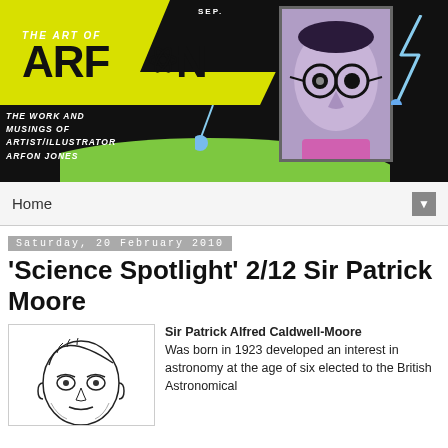[Figure (illustration): Header banner for 'The Art of Arfon' blog. Yellow diagonal stripe with black text 'THE ART OF ARFON' with atom symbol, dark background, portrait illustration of person with glasses, green splatter elements, lightning bolt, text 'THE WORK AND MUSINGS OF ARTIST/ILLUSTRATOR ARFON JONES'. 'SEP.' label at top.]
Home ▼
Saturday, 20 February 2010
'Science Spotlight' 2/12 Sir Patrick Moore
[Figure (illustration): Black and white line drawing illustration of Sir Patrick Moore's face, balding elderly man]
Sir Patrick Alfred Caldwell-Moore Was born in 1923 developed an interest in astronomy at the age of six elected to the British Astronomical